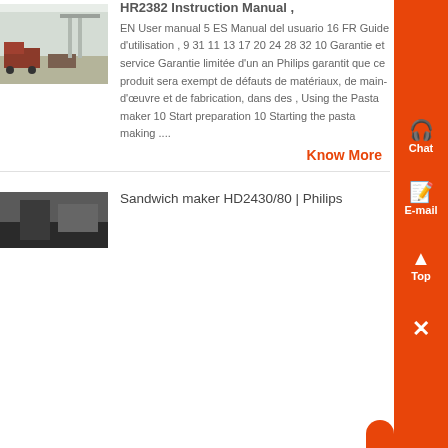[Figure (photo): Industrial warehouse with trucks and equipment inside]
HR2382 Instruction Manual ,
EN User manual 5 ES Manual del usuario 16 FR Guide d'utilisation , 9 31 11 13 17 20 24 28 32 10 Garantie et service Garantie limitée d'un an Philips garantit que ce produit sera exempt de défauts de matériaux, de main-d'œuvre et de fabrication, dans des , Using the Pasta maker 10 Start preparation 10 Starting the pasta making ....
Know More
[Figure (photo): Close-up image related to sandwich maker]
Sandwich maker HD2430/80 | Philips